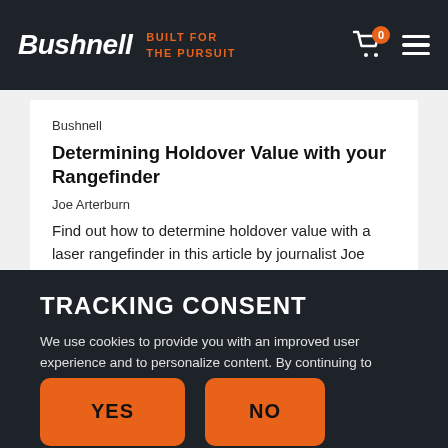Bushnell | BUILT FOR THE PURSUIT
Bushnell
Determining Holdover Value with your Rangefinder
Joe Arterburn
Find out how to determine holdover value with a laser rangefinder in this article by journalist Joe Arterburn.
Through the Lens
TRACKING CONSENT
We use cookies to provide you with an improved user experience and to personalize content. By continuing to browse this site, you consent to the use of cookies. To learn more, see our Privacy Policy.
YES
NO